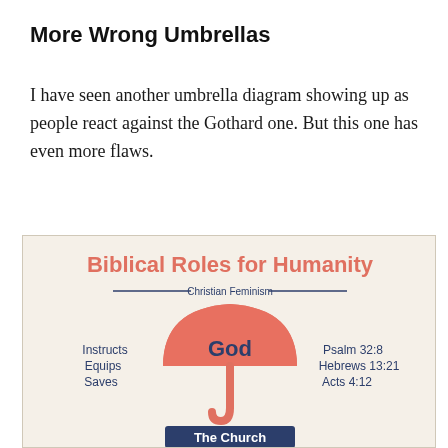More Wrong Umbrellas
I have seen another umbrella diagram showing up as people react against the Gothard one. But this one has even more flaws.
[Figure (infographic): Biblical Roles for Humanity infographic showing an umbrella labeled 'God' under the heading 'Christian Feminism', with text 'Instructs, Equips, Saves' on the left and 'Psalm 32:8, Hebrews 13:21, Acts 4:12' on the right. Below the umbrella is a banner labeled 'The Church'.]